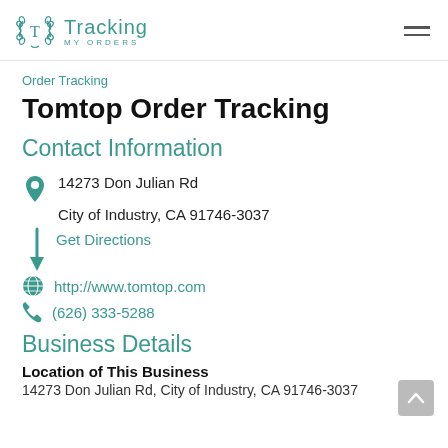Tracking My Orders — logo and navigation
Order Tracking
Tomtop Order Tracking
Contact Information
14273 Don Julian Rd
City of Industry, CA 91746-3037
Get Directions
http://www.tomtop.com
(626) 333-5288
Business Details
Location of This Business
14273 Don Julian Rd, City of Industry, CA 91746-3037